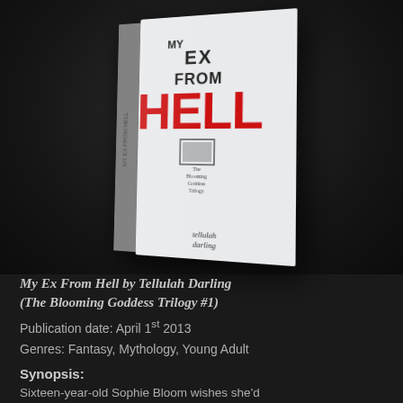[Figure (illustration): A 3D rendered book cover for 'My Ex From Hell' by Tellulah Darling, shown at an angle on a dark background. The cover is white with bold red text reading 'HELL' and black text 'MY EX FROM'. There is a small emblem and subtitle text 'The Blooming Goddess Trilogy' on the cover.]
My Ex From Hell by Tellulah Darling (The Blooming Goddess Trilogy #1)
Publication date: April 1st 2013
Genres: Fantasy, Mythology, Young Adult
Synopsis:
Sixteen-year-old Sophie Bloom wishes she'd been taught the following: